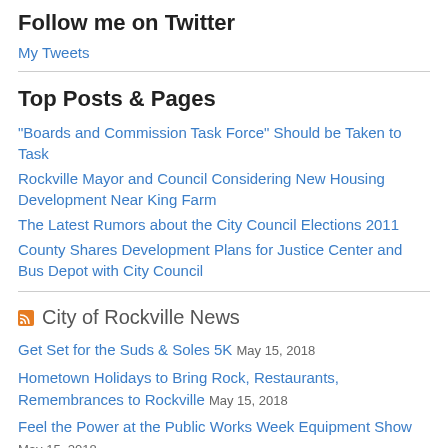Follow me on Twitter
My Tweets
Top Posts & Pages
"Boards and Commission Task Force" Should be Taken to Task
Rockville Mayor and Council Considering New Housing Development Near King Farm
The Latest Rumors about the City Council Elections 2011
County Shares Development Plans for Justice Center and Bus Depot with City Council
City of Rockville News
Get Set for the Suds & Soles 5K May 15, 2018
Hometown Holidays to Bring Rock, Restaurants, Remembrances to Rockville May 15, 2018
Feel the Power at the Public Works Week Equipment Show May 15, 2018